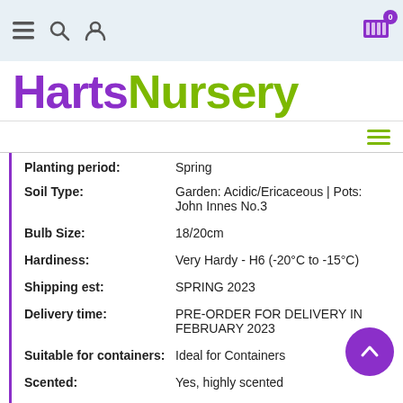HartsNursery navigation bar
HartsNursery
| Property | Value |
| --- | --- |
| Planting period: | Spring |
| Soil Type: | Garden: Acidic/Ericaceous | Pots: John Innes No.3 |
| Bulb Size: | 18/20cm |
| Hardiness: | Very Hardy - H6 (-20°C to -15°C) |
| Shipping est: | SPRING 2023 |
| Delivery time: | PRE-ORDER FOR DELIVERY IN FEBRUARY 2023 |
| Suitable for containers: | Ideal for Containers |
| Scented: | Yes, highly scented |
| Double flowered: | No |